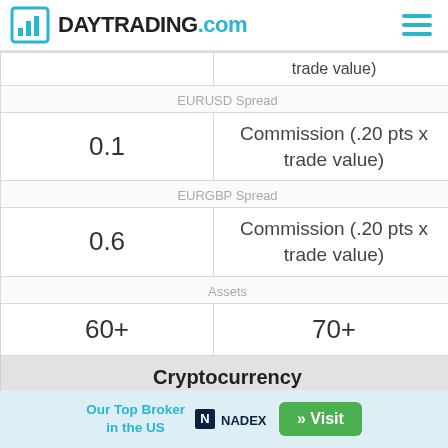DAYTRADING.com
|  |  |
| --- | --- |
|  | trade value) |
| EURUSD Spread | EURUSD Spread |
| 0.1 | Commission (.20 pts x trade value) |
| EURGBP Spread | EURGBP Spread |
| 0.6 | Commission (.20 pts x trade value) |
| Assets | Assets |
| 60+ | 70+ |
| Cryptocurrency | Cryptocurrency |
| Switch Markets offers four cryptocurrencies with |  |
Our Top Broker in the US  NADEX  » Visit